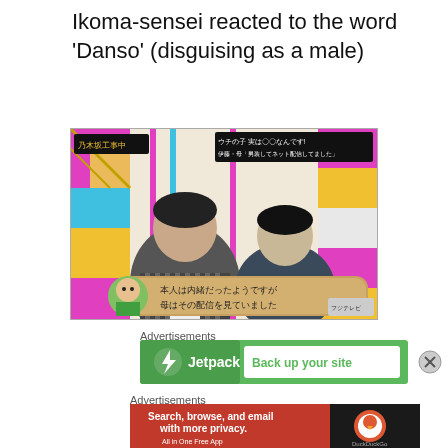Ikoma-sensei reacted to the word 'Danso' (disguising as a male)
[Figure (screenshot): TV show screenshot showing two men on a Japanese variety show with text overlays in Japanese. Bottom text banner reads: 本人は内緒だったようですが 母はその配信を見ていました. Top left logo: 乃木坂工事中. Top right text: ウチの子 実は〇〇なんです! 伊藤・母「男装してネット配信してました」]
Advertisements
[Figure (screenshot): Jetpack advertisement banner. Green background with white Jetpack logo and lightning bolt icon on left, white button on right reading 'Back up your site']
Advertisements
[Figure (screenshot): DuckDuckGo advertisement banner. Red background on left with text 'Search, browse, and email with more privacy. All in One Free App'. Dark right side with DuckDuckGo logo.]